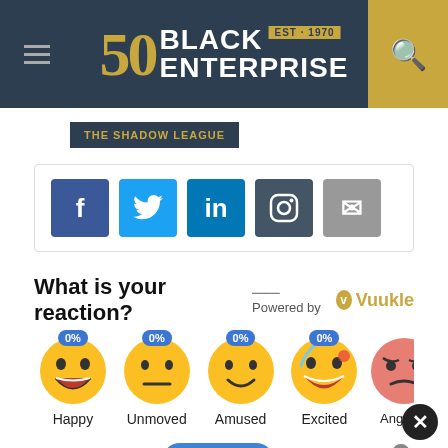Black Enterprise — EST. 1970 — 50th Anniversary
THE SHADOW LEAGUE
[Figure (screenshot): Social share buttons: Facebook, Twitter, LinkedIn, Instagram, Email]
What is your reaction? Powered by Vuukle
[Figure (infographic): Reaction emojis: Happy 0%, Unmoved 0%, Amused 0%, Excited 0%, Angry (partially visible)]
Comments Listen (audio button) with bell notification icon
[Figure (screenshot): Bottom grey card area (comment input area)]